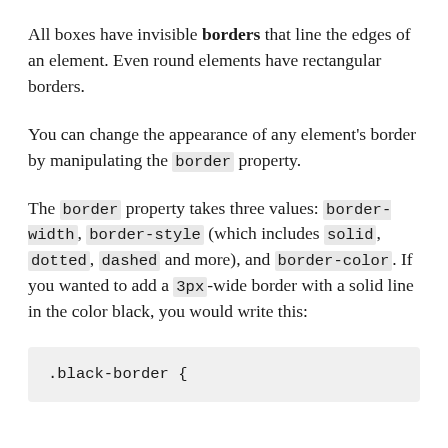All boxes have invisible borders that line the edges of an element. Even round elements have rectangular borders.
You can change the appearance of any element's border by manipulating the border property.
The border property takes three values: border-width, border-style (which includes solid, dotted, dashed and more), and border-color. If you wanted to add a 3px-wide border with a solid line in the color black, you would write this:
.black-border {